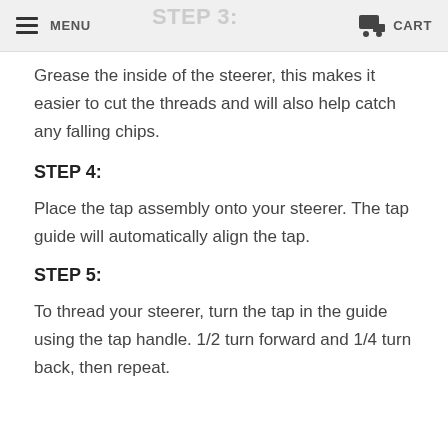MENU  CART
Grease the inside of the steerer, this makes it easier to cut the threads and will also help catch any falling chips.
STEP 4:
Place the tap assembly onto your steerer. The tap guide will automatically align the tap.
STEP 5:
To thread your steerer, turn the tap in the guide using the tap handle. 1/2 turn forward and 1/4 turn back, then repeat.